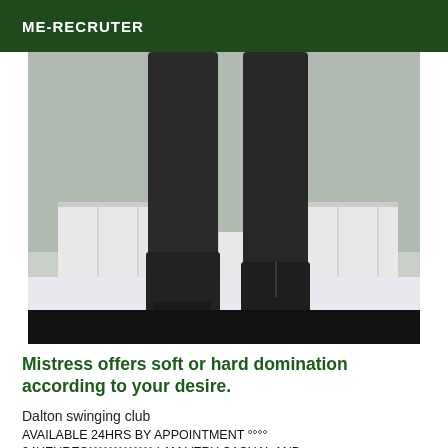ME-RECRUTER
[Figure (photo): Photo of person wearing tall dark leather high-heel boots standing on a white fluffy rug in front of a white radiator. Only the legs and boots are visible. Lower portion of image is black.]
Mistress offers soft or hard domination according to your desire.
Dalton swinging club
AVAILABLE 24HRS BY APPOINTMENT °°°° 24HEURES°°°°°°°°°°°°° I AM VERY CASUAL AND